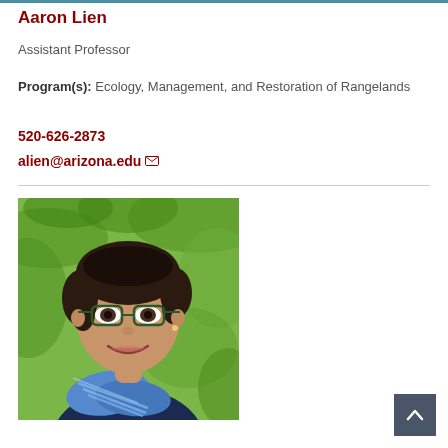Aaron Lien
Assistant Professor
Program(s): Ecology, Management, and Restoration of Rangelands
520-626-2873
alien@arizona.edu
[Figure (photo): Headshot of Aaron Lien, a woman with short dark hair and glasses, wearing a blue striped scarf, smiling in front of a green leafy background.]